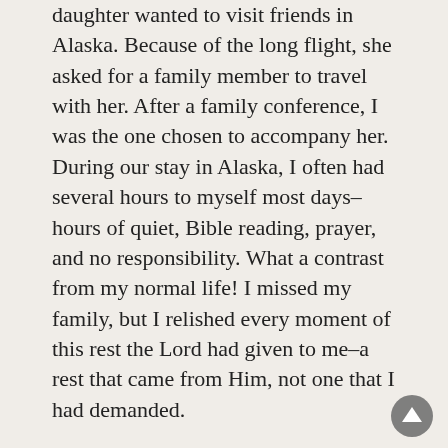daughter wanted to visit friends in Alaska. Because of the long flight, she asked for a family member to travel with her. After a family conference, I was the one chosen to accompany her. During our stay in Alaska, I often had several hours to myself most days–hours of quiet, Bible reading, prayer, and no responsibility. What a contrast from my normal life! I missed my family, but I relished every moment of this rest the Lord had given to me–a rest that came from Him, not one that I had demanded.
I don't want to make any mom feel guilty for doing something she enjoys or having occasional times away from her children. That isn't the heart cry of this series. The Lord can and does provide special pleasures in our lives that are exactly what we like to do and also what we would need. He gives them to us, and we can delight in them. I want, though, for my thoughts to be resting on His ability to take care of me rather than having a mindset that I deserve a particular amount of free time and fun or that I can't function properly without